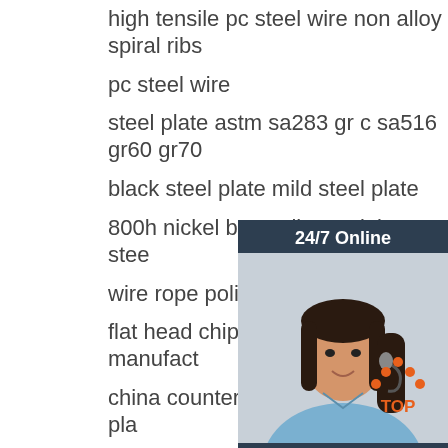high tensile pc steel wire non alloy spiral ribs
pc steel wire
steel plate astm sa283 gr c sa516 gr60 gr70
black steel plate mild steel plate
800h nickel base alloy stainless stee…
wire rope polished rod
flat head chipboard screw manufact…
china countersunk head m5 zinc pla…
steel din 70m
cold rolled ppgi ppgl prepainted galvanized…
corrugated steel coil iron roofing sheet
high strength 4x8 metal 16 gauge thickness…
z275 galvanized sheet metal strips
astm a106 gr b ct45 api 5L52 46 42 carbon s…
[Figure (illustration): Chat widget with 24/7 Online label, woman with headset photo, Click here for free chat text, and QUOTATION orange button]
[Figure (logo): Orange TOP button with dots forming an arrow/triangle shape]